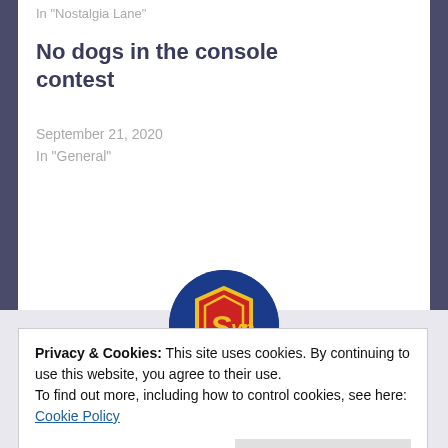In "Nostalgia Lane"
No dogs in the console contest
September 21, 2020
In "General"
[Figure (logo): Superman-style circular logo with dark blue background, red shield with yellow border, and yellow 'Syp' text inside]
Author: Syp
Privacy & Cookies: This site uses cookies. By continuing to use this website, you agree to their use.
To find out more, including how to control cookies, see here: Cookie Policy
Close and accept